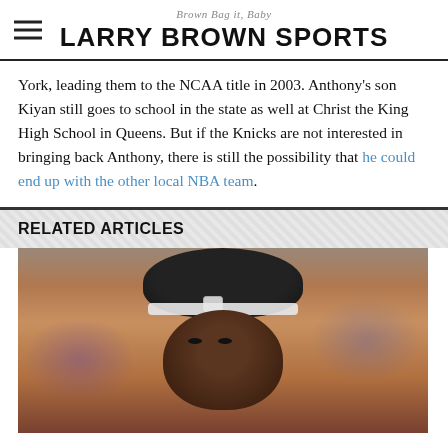Brown Bag it, Baby — LARRY BROWN SPORTS
York, leading them to the NCAA title in 2003. Anthony's son Kiyan still goes to school in the state as well at Christ the King High School in Queens. But if the Knicks are not interested in bringing back Anthony, there is still the possibility that he could end up with the other local NBA team.
RELATED ARTICLES
[Figure (photo): Close-up photo of a basketball player wearing a backwards cap with NBA logo, looking serious, blurred orange/purple arena background]